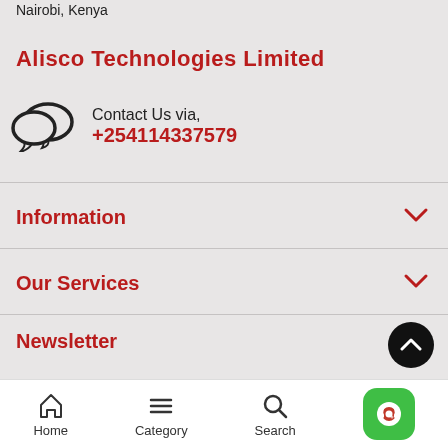Nairobi, Kenya
Alisco Technologies Limited
Contact Us via, +254114337579
Information
Our Services
Newsletter
Home  Category  Search